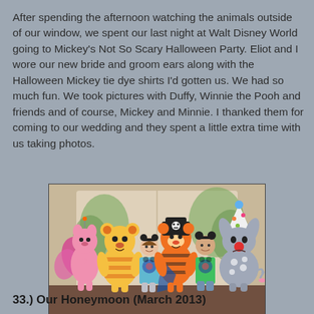After spending the afternoon watching the animals outside of our window, we spent our last night at Walt Disney World going to Mickey's Not So Scary Halloween Party. Eliot and I wore our new bride and groom ears along with the Halloween Mickey tie dye shirts I'd gotten us. We had so much fun. We took pictures with Duffy, Winnie the Pooh and friends and of course, Mickey and Minnie. I thanked them for coming to our wedding and they spent a little extra time with us taking photos.
[Figure (photo): Group photo of Piglet, Winnie the Pooh, Tigger (in pirate hat), Eeyore (in party hat), and two people in Halloween tie-dye Mickey shirts, posing in front of a storybook backdrop at Walt Disney World's Mickey's Not So Scary Halloween Party.]
33.) Our Honeymoon (March 2013)